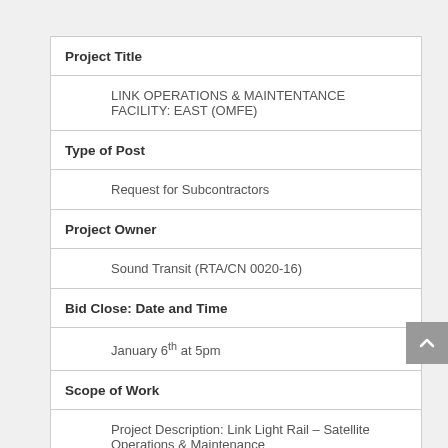Project Title
LINK OPERATIONS & MAINTENTANCE FACILITY: EAST (OMFE)
Type of Post
Request for Subcontractors
Project Owner
Sound Transit (RTA/CN 0020-16)
Bid Close: Date and Time
January 6th at 5pm
Scope of Work
Project Description: Link Light Rail – Satellite Operations & Maintenance